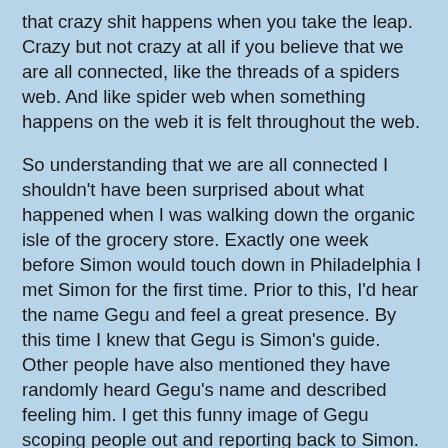that crazy shit happens when you take the leap. Crazy but not crazy at all if you believe that we are all connected, like the threads of a spiders web. And like spider web when something happens on the web it is felt throughout the web.
So understanding that we are all connected I shouldn't have been surprised about what happened when I was walking down the organic isle of the grocery store. Exactly one week before Simon would touch down in Philadelphia I met Simon for the first time. Prior to this, I'd hear the name Gegu and feel a great presence. By this time I knew that Gegu is Simon's guide. Other people have also mentioned they have randomly heard Gegu's name and described feeling him. I get this funny image of Gegu scoping people out and reporting back to Simon.
I'm sure you want to know what happened in the organic isle of the grocery store. To some this may not be that crazy, but to me it was simply because Simon and I had never met. Here is the story: I ran into the store to pick up a few things and like I do, forgot my grocery list, and was all over the store. I back-tracked to the organic isle and as soon as I